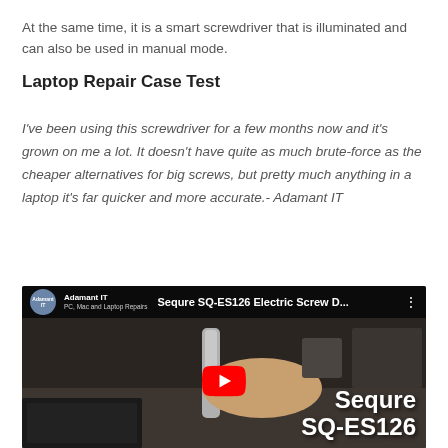At the same time, it is a smart screwdriver that is illuminated and can also be used in manual mode.
Laptop Repair Case Test
I've been using this screwdriver for a few months now and it's grown on me a lot. It doesn't have quite as much brute-force as the cheaper alternatives for big screws, but pretty much anything in a laptop it's far quicker and more accurate.- Adamant IT
[Figure (screenshot): YouTube video thumbnail for 'Sequre SQ-ES126 Electric Screw D...' by Adamant IT channel, showing a person holding a screwdriver over a laptop repair workspace. The video overlay shows 'Sequre SQ-ES126' text and a YouTube play button.]